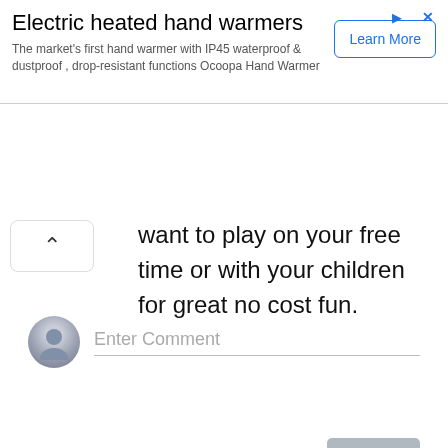[Figure (screenshot): Advertisement banner for Electric heated hand warmers with Learn More button]
want to play on your free time or with your children for great no cost fun.
[Figure (screenshot): Reply button (gray rounded rectangle)]
[Figure (screenshot): Enter Comment input field with user avatar icon]